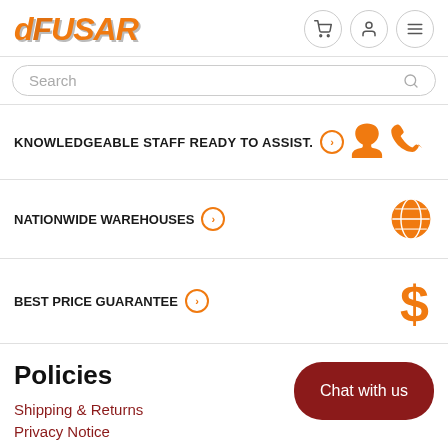dFUSER
Search
KNOWLEDGEABLE STAFF READY TO ASSIST.
NATIONWIDE WAREHOUSES
BEST PRICE GUARANTEE
Policies
Shipping & Returns
Privacy Notice
Chat with us